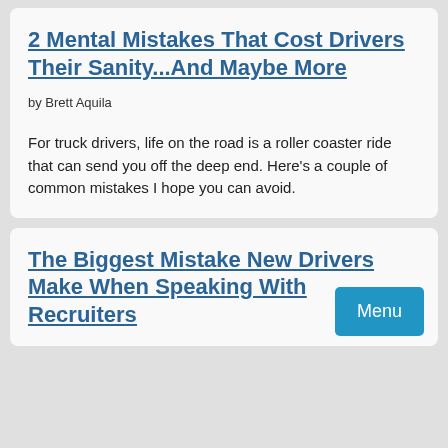2 Mental Mistakes That Cost Drivers Their Sanity...And Maybe More
by Brett Aquila
For truck drivers, life on the road is a roller coaster ride that can send you off the deep end. Here's a couple of common mistakes I hope you can avoid.
The Biggest Mistake New Drivers Make When Speaking With Recruiters